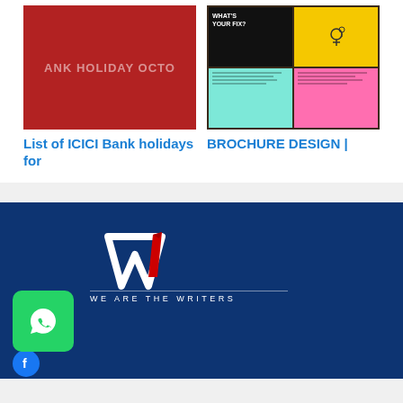[Figure (photo): Red background image with text 'ANK HOLIDAY OCTO' in light gray, representing ICICI Bank holidays]
List of ICICI Bank holidays for
[Figure (photo): Brochure design image showing colorful panels (black, yellow, pink, cyan, yellow) with 'WHAT'S YOUR FIX?' text and icons]
BROCHURE DESIGN |
[Figure (logo): We Are The Writers logo with stylized W and pen mark, tagline WE ARE THE WRITERS on blue background]
[Figure (photo): WhatsApp button icon (green rounded square with phone icon)]
[Figure (logo): Facebook icon circle at bottom]